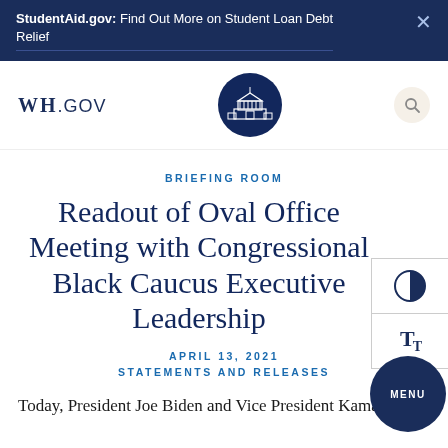StudentAid.gov: Find Out More on Student Loan Debt Relief
[Figure (logo): WH.GOV wordmark and White House seal emblem in navigation bar]
BRIEFING ROOM
Readout of Oval Office Meeting with Congressional Black Caucus Executive Leadership
APRIL 13, 2021
STATEMENTS AND RELEASES
Today, President Joe Biden and Vice President Kamala